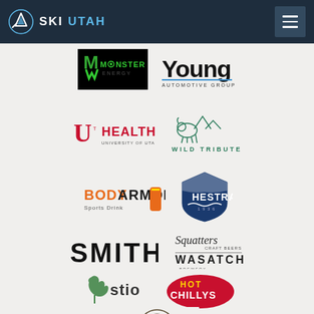SKI UTAH
[Figure (logo): Monster Energy logo - black background with green M claw mark]
[Figure (logo): Young Automotive Group logo - bold black text]
[Figure (logo): U Health University of Utah logo - red U with Health text]
[Figure (logo): Wild Tribute logo - bison and mountains outline in teal green]
[Figure (logo): BodyArmor Sports Drink logo - orange text with can]
[Figure (logo): Hestra logo - shield badge with tree and wave design]
[Figure (logo): Smith logo - large bold black text]
[Figure (logo): Squatters Craft Beers and Wasatch Brewery logos stacked]
[Figure (logo): Stio logo - green leaf/hop icon with stio text]
[Figure (logo): Hot Chillys logo - red and gold badge style]
[Figure (logo): High West Distillery logo - circular badge]